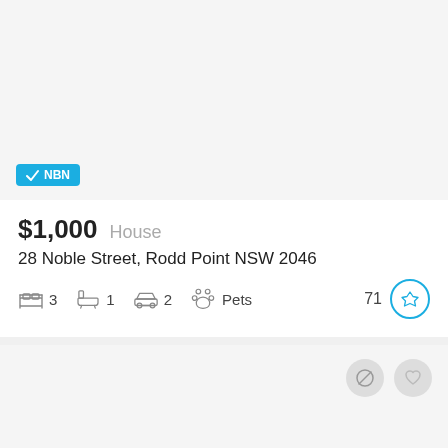[Figure (photo): Property listing card top image area (light grey placeholder) with NBN badge in bottom left corner]
NBN
$1,000  House
28 Noble Street, Rodd Point NSW 2046
3 bedrooms, 1 bathroom, 2 car spaces, Pets allowed, Score: 71
[Figure (photo): Second listing card image area (grey placeholder) with hide and favourite icons]